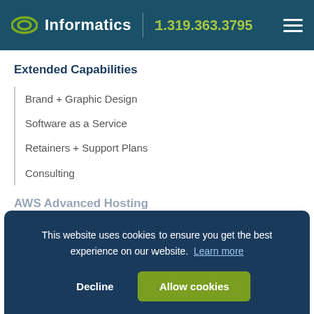Informatics | 1.319.363.3795
Extended Capabilities
Brand + Graphic Design
Software as a Service
Retainers + Support Plans
Consulting
AWS Advanced Hosting
Managed Amazon Cloud Hosting
Perfect Fit Hosting Plan
Web Support + Maintenance
This website uses cookies to ensure you get the best experience on our website. Learn more
Decline | Allow cookies